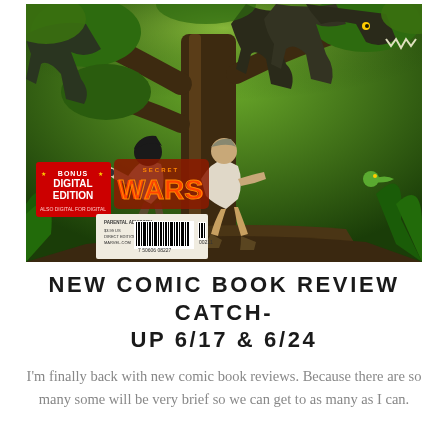[Figure (illustration): Comic book cover showing two humans crouching near a large tree while surrounded by dinosaurs (T-Rex and others) in a green jungle setting. Bottom left shows a 'BONUS DIGITAL EDITION' badge and 'SECRET WARS' logo in red/orange. A barcode sticker at bottom shows price $3.99, PARENTAL ADVISORY, DIRECT EDITION, MARVEL.COM.]
NEW COMIC BOOK REVIEW CATCH-UP 6/17 & 6/24
I'm finally back with new comic book reviews. Because there are so many some will be very brief so we can get to as many as I can.